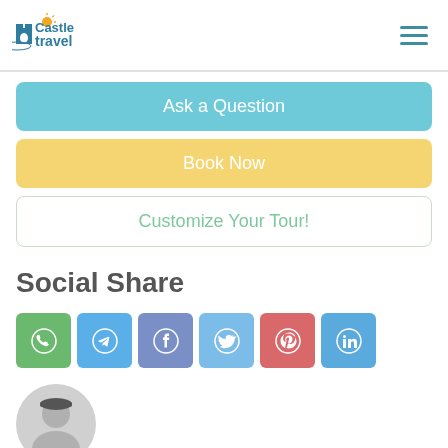Castle Travel logo and navigation menu
Ask a Question
Book Now
Customize Your Tour!
Social Share
[Figure (infographic): Row of 6 social media share icons: WhatsApp (green), Telegram (blue), Facebook (purple-blue), Twitter (light blue), Pinterest (red-pink), LinkedIn (blue)]
[Figure (photo): Circular avatar photo of a person, partially cropped, at the bottom left of the page]